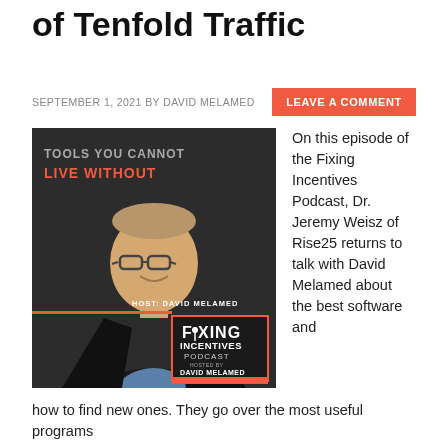of Tenfold Traffic
SEPTEMBER 1, 2021 BY DAVID MELAMED
LEAVE A COMMENT
[Figure (photo): Podcast episode cover image showing a man in a suit with text 'Tools You Cannot Live Without', 'HOST: DAVID MELAMED', and Fixing Incentives Podcast logo on a dark background.]
On this episode of the Fixing Incentives Podcast, Dr. Jeremy Weisz of Rise25 returns to talk with David Melamed about the best software and
how to find new ones. They go over the most useful programs